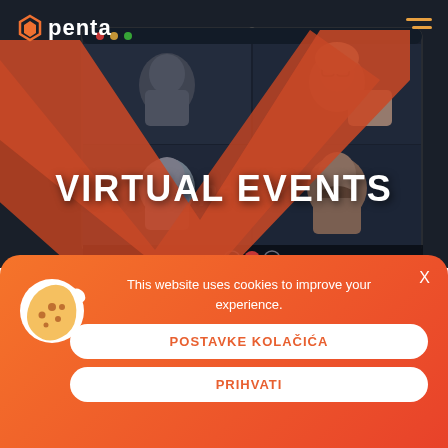[Figure (screenshot): Website screenshot of Penta virtual events page showing a dark-themed video call interface with four participants visible in a grid layout. An orange checkmark/chevron graphic overlays the top-left. The Penta logo appears in the top-left and a hamburger menu in the top-right. Large white bold text reads VIRTUAL EVENTS overlaid on the video grid.]
VIRTUAL EVENTS
This website uses cookies to improve your experience.
POSTAVKE KOLAČIĆA
PRIHVATI